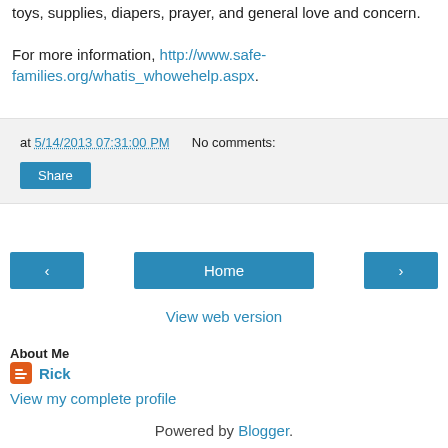toys, supplies, diapers, prayer, and general love and concern.
For more information, http://www.safe-families.org/whatis_whowehelp.aspx.
at 5/14/2013 07:31:00 PM   No comments:
Share
‹  Home  ›
View web version
About Me
Rick
View my complete profile
Powered by Blogger.